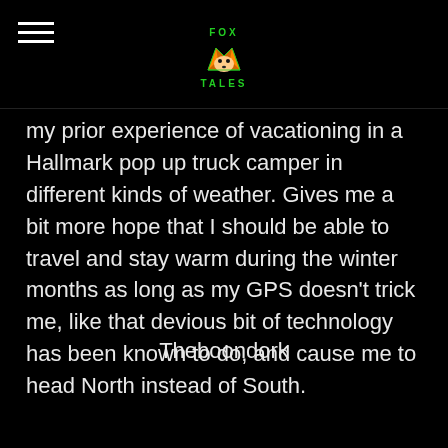FOX TALES
my prior experience of vacationing in a Hallmark pop up truck camper in different kinds of weather. Gives me a bit more hope that I should be able to travel and stay warm during the winter months as long as my GPS doesn't trick me, like that devious bit of technology has been known to do, and cause me to head North instead of South.
Theboondork